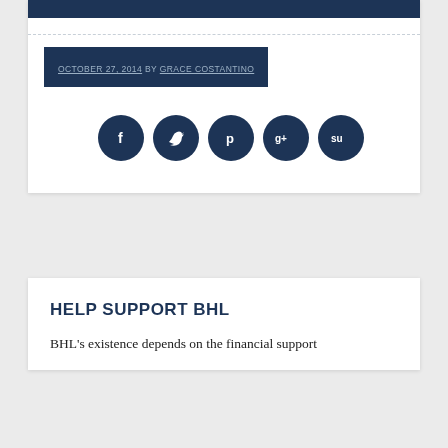OCTOBER 27, 2014 BY GRACE COSTANTINO
[Figure (infographic): Row of 5 dark navy circular social media icon buttons: Facebook (f), Twitter (bird), Pinterest (p), Google+ (g+), StumbleUpon (su)]
HELP SUPPORT BHL
BHL's existence depends on the financial support